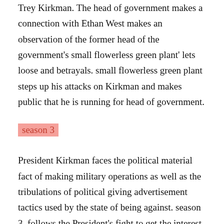Trey Kirkman. The head of government makes a connection with Ethan West makes an observation of the former head of the government’s small flowerless green plant’ lets loose and betrayals. small flowerless green plant steps up his attacks on Kirkman and makes public that he is running for head of government.
season 3
President Kirkman faces the political material fact of making military operations as well as the tribulations of political giving advertisement tactics used by the state of being against. season 3  follows the President’s fight to get the interest of the public opinion and in the end, the chances of his controlling organization being selected for another word.
What is Designated Survivor